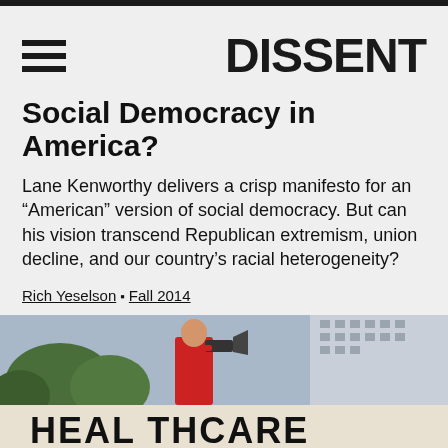DISSENT
Social Democracy in America?
Lane Kenworthy delivers a crisp manifesto for an “American” version of social democracy. But can his vision transcend Republican extremism, union decline, and our country’s racial heterogeneity?
Rich Yeselson • Fall 2014
[Figure (photo): A man in a red jacket speaking into a megaphone at a protest rally, standing behind a banner that reads HEALTHCARE]